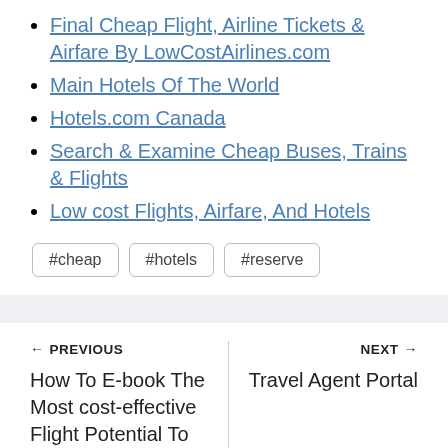Final Cheap Flight, Airline Tickets & Airfare By LowCostAirlines.com
Main Hotels Of The World
Hotels.com Canada
Search & Examine Cheap Buses, Trains & Flights
Low cost Flights, Airfare, And Hotels
#cheap  #hotels  #reserve
← PREVIOUS  How To E-book The Most cost-effective Flight Potential To
NEXT →  Travel Agent Portal